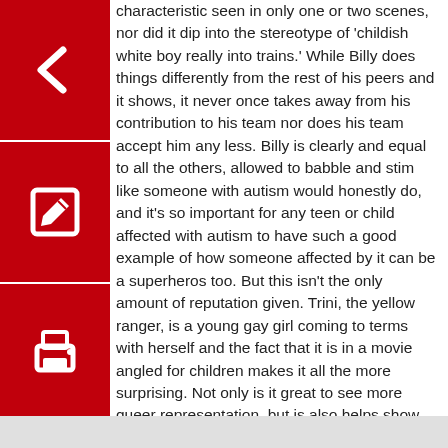characteristic seen in only one or two scenes, nor did it dip into the stereotype of 'childish white boy really into trains.' While Billy does things differently from the rest of his peers and it shows, it never once takes away from his contribution to his team nor does his team accept him any less. Billy is clearly and equal to all the others, allowed to babble and stim like someone with autism would honestly do, and it's so important for any teen or child affected with autism to have such a good example of how someone affected by it can be a superheros too. But this isn't the only amount of reputation given. Trini, the yellow ranger, is a young gay girl coming to terms with herself and the fact that it is in a movie angled for children makes it all the more surprising. Not only is it great to see more queer representation, but is also helps show that some girls want to have girlfriends and that's totally okay.
Despite stemming from a children's show, the Power Rangers movies is one that can be enjoyed by all ages because of its witty writing and great cast of characters. Although it is leaving theaters soon, it's definitely a movie worth renting and enjoying with friends and family.